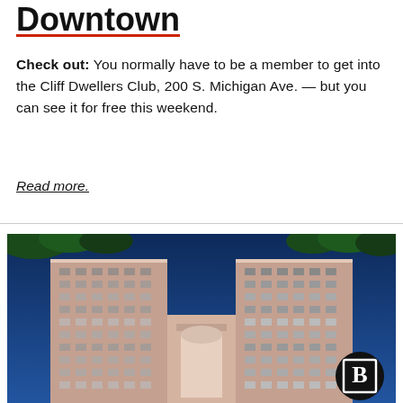Downtown
Check out: You normally have to be a member to get into the Cliff Dwellers Club, 200 S. Michigan Ave. — but you can see it for free this weekend.
Read more.
[Figure (photo): Upward-angle photograph of two tall pink/brick residential tower buildings against a deep blue sky, with tree branches visible at the top, and a Block Club Chicago logo badge in the lower right corner.]